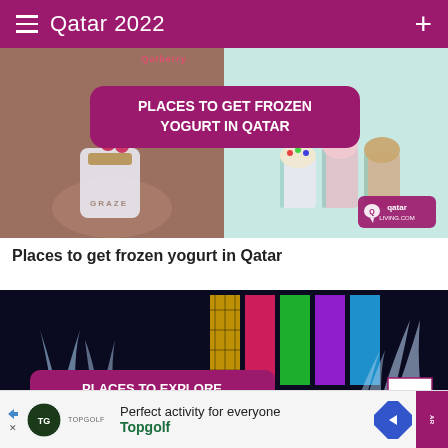Qatar 2022
[Figure (photo): Promotional image for frozen yogurt places in Qatar showing cups of frozen yogurt with toppings, branded GRAZE, with overlay text PLACES TO GET FROZEN YOGURT IN QATAR and Qatar Living logo]
Places to get frozen yogurt in Qatar
[Figure (photo): Night photo of colorful illuminated water fountains and building with overlay text PLACES TO EXPLORE WATER FOUNTAINS IN QATAR and scroll-to-top button]
[Figure (other): Advertisement banner for Topgolf: Perfect activity for everyone, Topgolf with navigation arrow icon and partial Qatar Living logo]